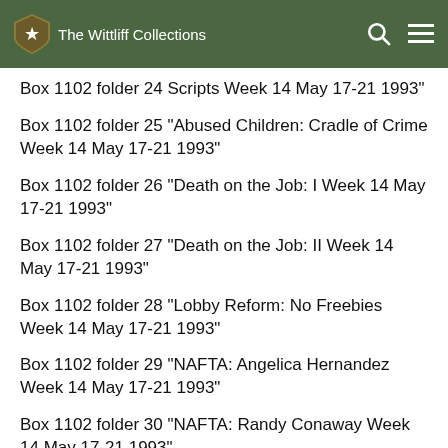The Wittliff Collections
Box 1102  folder 24  Scripts  Week 14  May 17-21  1993”
Box 1102  folder 25  “Abused Children: Cradle of Crime  Week 14  May 17-21  1993”
Box 1102  folder 26  “Death on the Job: I  Week 14  May 17-21  1993”
Box 1102  folder 27  “Death on the Job: II  Week 14  May 17-21  1993”
Box 1102  folder 28  “Lobby Reform: No Freebies  Week 14  May 17-21  1993”
Box 1102  folder 29  “NAFTA: Angelica Hernandez  Week 14  May 17-21  1993”
Box 1102  folder 30  “NAFTA: Randy Conaway  Week 14  May 17-21  1993”